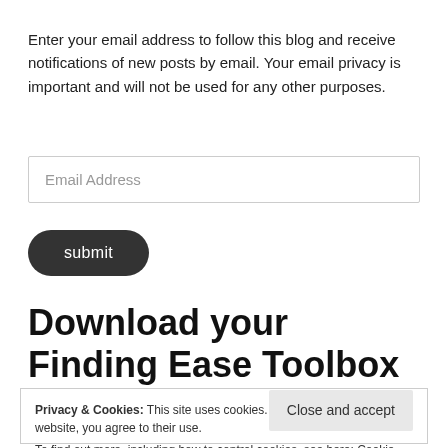Enter your email address to follow this blog and receive notifications of new posts by email. Your email privacy is important and will not be used for any other purposes.
Email Address
submit
Download your Finding Ease Toolbox
Privacy & Cookies: This site uses cookies. By continuing to use this website, you agree to their use.
To find out more, including how to control cookies, see here: Cookie Policy
Close and accept